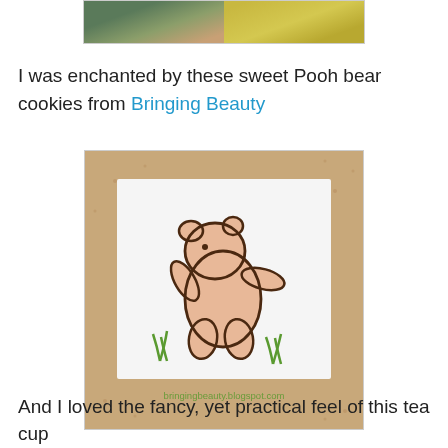[Figure (photo): Top strip showing two partial food/cookie images side by side]
I was enchanted by these sweet Pooh bear cookies from Bringing Beauty
[Figure (photo): A decorated sugar cookie with white royal icing square, featuring a Winnie the Pooh character outline drawn in dark brown icing with light pink/peach fill and green grass accents. Watermark reads bringingbeauty.blogspot.com]
And I loved the fancy, yet practical feel of this tea cup